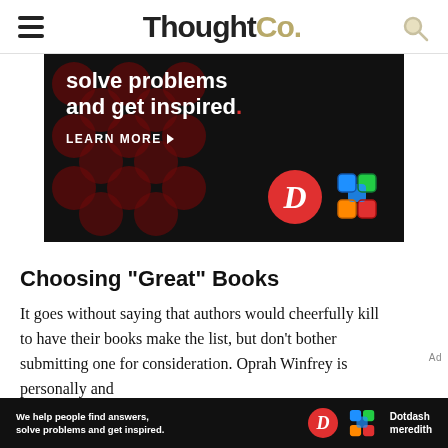ThoughtCo.
[Figure (screenshot): Advertisement banner: dark background with red dot pattern, text 'solve problems and get inspired.' with 'LEARN MORE' button and Dotdash Meredith logos]
Choosing "Great" Books
It goes without saying that authors would cheerfully kill to have their books make the list, but don't bother submitting one for consideration. Oprah Winfrey is personally and
[Figure (screenshot): Bottom advertisement banner: 'We help people find answers, solve problems and get inspired.' with Dotdash Meredith logo on dark background]